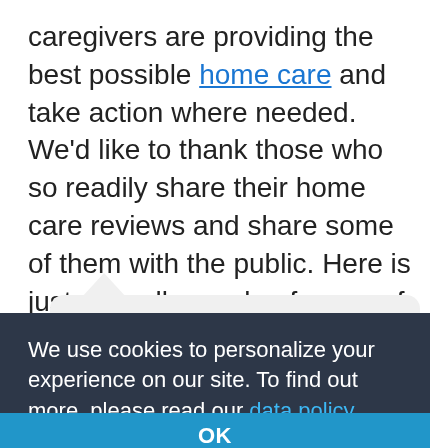caregivers are providing the best possible home care and take action where needed. We'd like to thank those who so readily share their home care reviews and share some of them with the public. Here is just a small sample of some of the reviews we've gotten for Visiting Angels.
"Thanks for helping us provide such [care that] meant so [much] to us and gave us such peace of mind."
—The Hamilton Family
We use cookies to personalize your experience on our site. To find out more, please read our data policy.
OK